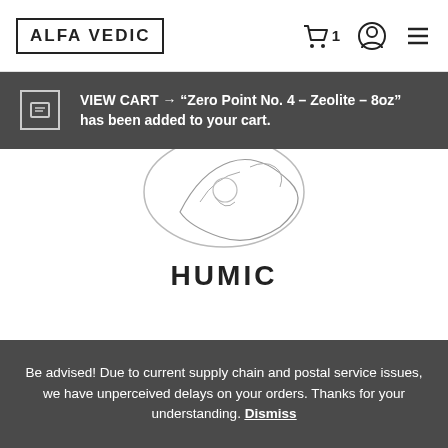ALFA VEDIC
VIEW CART → “Zero Point No. 4 – Zeolite – 8oz” has been added to your cart.
[Figure (illustration): Decorative botanical/food illustration in the top area of the page]
HUMIC
[Figure (illustration): Illustration of a humic acid molecular structure with leaves and plant elements]
Be advised! Due to current supply chain and postal service issues, we have unperceived delays on your orders. Thanks for your understanding. Dismiss